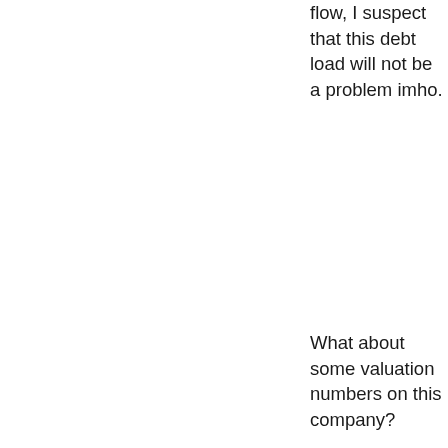flow, I suspect that this debt load will not be a problem imho.
What about some valuation numbers on this company?
Reviewing Yahoo "Key Statistics" on TALX, we find that this is a mid-cap stock with a market